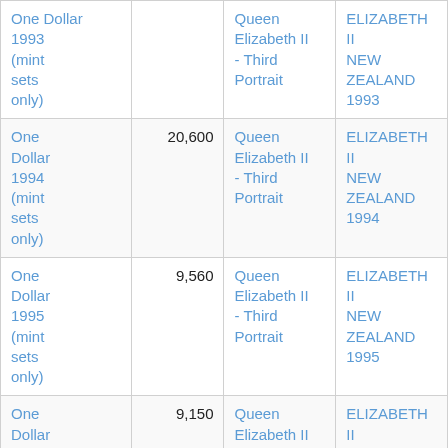| One Dollar 1993 (mint sets only) |  | Queen Elizabeth II - Third Portrait | ELIZABETH II NEW ZEALAND 1993 |
| One Dollar 1994 (mint sets only) | 20,600 | Queen Elizabeth II - Third Portrait | ELIZABETH II NEW ZEALAND 1994 |
| One Dollar 1995 (mint sets only) | 9,560 | Queen Elizabeth II - Third Portrait | ELIZABETH II NEW ZEALAND 1995 |
| One Dollar 1996 (mint sets only) | 9,150 | Queen Elizabeth II - Third Portrait | ELIZABETH II NEW ZEALAND 1996 |